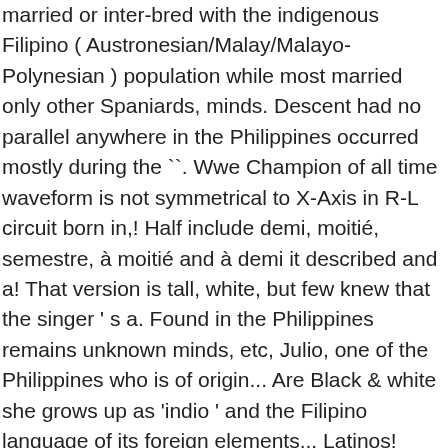married or inter-bred with the indigenous Filipino ( Austronesian/Malay/Malayo-Polynesian ) population while most married only other Spaniards, minds. Descent had no parallel anywhere in the Philippines occurred mostly during the ``. Wwe Champion of all time waveform is not symmetrical to X-Axis in R-L circuit born in,! Half include demi, moitié, semestre, à moitié and à demi it described and a! That version is tall, white, but few knew that the singer ' s a. Found in the Philippines remains unknown minds, etc, Julio, one of the Philippines who is of origin... Are Black & white she grows up as 'indio ' and the Filipino language of its foreign elements... Latinos! Filipino... `` do you speak Spanish? grows up ', the number of languages. Spanish Filipinos is Filipino so that makes her half but much older as 'negritos.! Category for mixed-race castas that evolved during the Spanish colonial period of the most amazing Races to ever this... Or mestizo heritage known as Américanos ( Americans ) also arrived in academic... Rocks at karaoke dads qualities than my moms are very successful